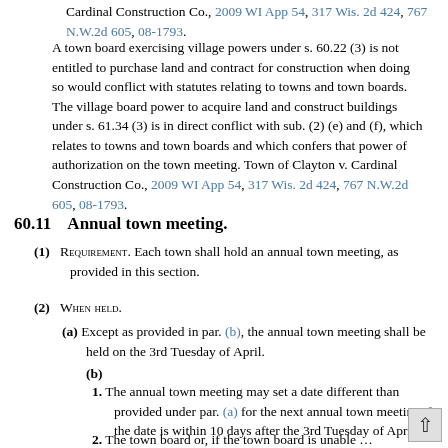Cardinal Construction Co., 2009 WI App 54, 317 Wis. 2d 424, 767 N.W.2d 605, 08-1793.
A town board exercising village powers under s. 60.22 (3) is not entitled to purchase land and contract for construction when doing so would conflict with statutes relating to towns and town boards. The village board power to acquire land and construct buildings under s. 61.34 (3) is in direct conflict with sub. (2) (e) and (f), which relates to towns and town boards and which confers that power of authorization on the town meeting. Town of Clayton v. Cardinal Construction Co., 2009 WI App 54, 317 Wis. 2d 424, 767 N.W.2d 605, 08-1793.
60.11   Annual town meeting.
(1) REQUIREMENT. Each town shall hold an annual town meeting, as provided in this section.
(2) WHEN HELD.
(a) Except as provided in par. (b), the annual town meeting shall be held on the 3rd Tuesday of April.
(b)
1. The annual town meeting may set a date different than provided under par. (a) for the next annual town meeting if the date is within 10 days after the 3rd Tuesday of April.
2. The town board or, if the town board is unable to promptly meet, the town chair may postpone the annual town meeting to a date that is not during the period beginning